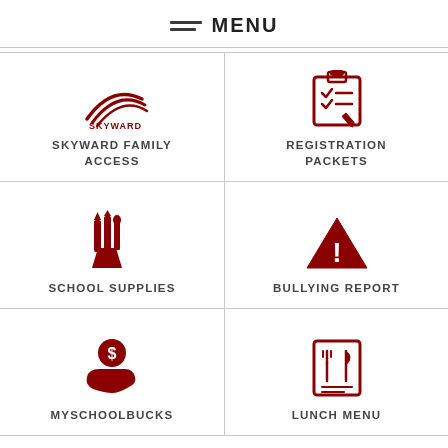MENU
SKYWARD FAMILY ACCESS
REGISTRATION PACKETS
SCHOOL SUPPLIES
BULLYING REPORT
MYSCHOOLBUCKS
LUNCH MENU
[Figure (illustration): Open book / reference book icon (partial, bottom of page)]